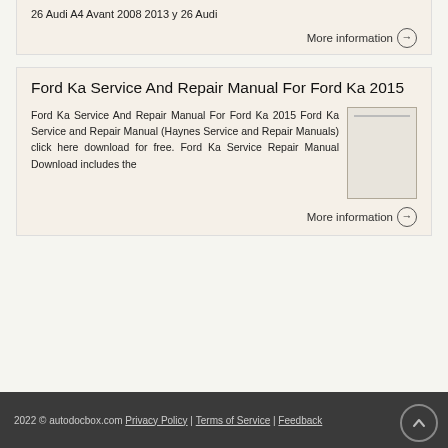26 Audi A4 Avant 2008 2013 y 26 Audi
More information →
Ford Ka Service And Repair Manual For Ford Ka 2015
Ford Ka Service And Repair Manual For Ford Ka 2015 Ford Ka Service and Repair Manual (Haynes Service and Repair Manuals) click here download for free. Ford Ka Service Repair Manual Download includes the
More information →
2022 © autodocbox.com  Privacy Policy | Terms of Service | Feedback